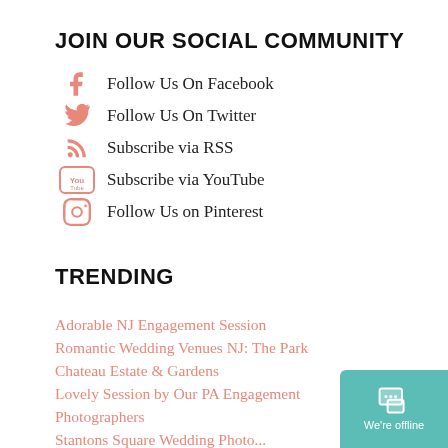JOIN OUR SOCIAL COMMUNITY
Follow Us On Facebook
Follow Us On Twitter
Subscribe via RSS
Subscribe via YouTube
Follow Us on Pinterest
TRENDING
Adorable NJ Engagement Session
Romantic Wedding Venues NJ: The Park Chateau Estate & Gardens
Lovely Session by Our PA Engagement Photographers
Stantons Square Wedding Photo...